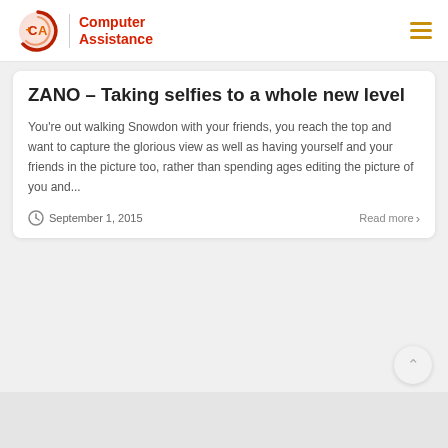Computer Assistance
ZANO – Taking selfies to a whole new level
You're out walking Snowdon with your friends, you reach the top and want to capture the glorious view as well as having yourself and your friends in the picture too, rather than spending ages editing the picture of you and...
September 1, 2015 — Read more >